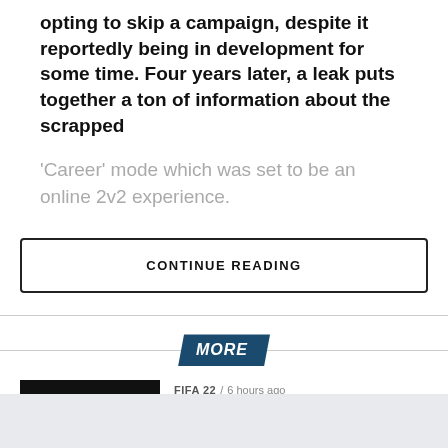Call of Duty: Black Ops 4 went against the norm by opting to skip a campaign, despite it reportedly being in development for some time. Four years later, a leak puts together a ton of information about the scrapped 'Career' mode which was set to be an online 2v2 experience.
CONTINUE READING
MORE
FIFA 22  /  6 hours ago
New FIFA 23 FUT Hero cards revealed: Yaya Toure, Forlan, Mascherano, more